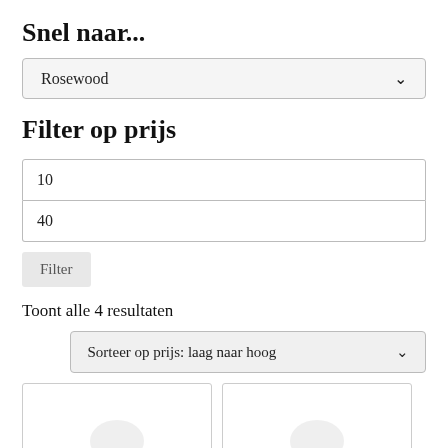Snel naar...
[Figure (screenshot): Dropdown selector showing 'Rosewood' with a chevron arrow]
Filter op prijs
10
40
Filter
Toont alle 4 resultaten
[Figure (screenshot): Dropdown selector showing 'Sorteer op prijs: laag naar hoog' with a chevron arrow]
[Figure (screenshot): Two product card placeholders at the bottom of the page]